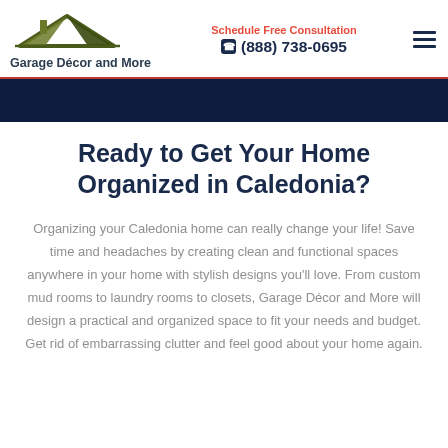[Figure (logo): Garage Décor and More logo with house roof icon in olive/dark green and company name below]
Schedule Free Consultation
☎ (888) 738-0695
Ready to Get Your Home Organized in Caledonia?
Organizing your Caledonia home can really change your life! Save time and headaches by creating clean and functional spaces anywhere in your home with stylish designs you'll love. From custom mud rooms to laundry rooms to closets, Garage Décor and More will design a practical and organized space to fit your needs and budget. Get rid of embarrassing clutter and feel good about your home again.